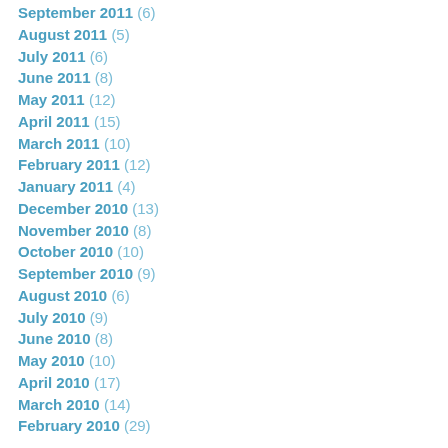September 2011 (6)
August 2011 (5)
July 2011 (6)
June 2011 (8)
May 2011 (12)
April 2011 (15)
March 2011 (10)
February 2011 (12)
January 2011 (4)
December 2010 (13)
November 2010 (8)
October 2010 (10)
September 2010 (9)
August 2010 (6)
July 2010 (9)
June 2010 (8)
May 2010 (10)
April 2010 (17)
March 2010 (14)
February 2010 (29)